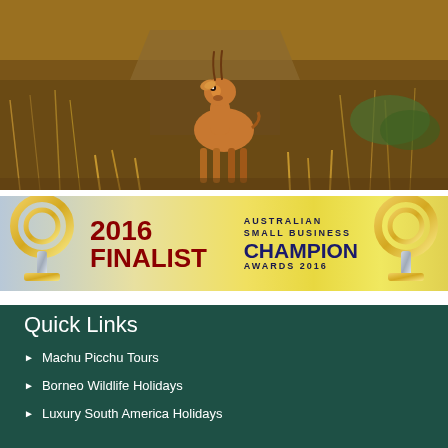[Figure (photo): A young antelope or steenbok standing in dry African savanna grassland with golden brown grass and blurred background of thatched roof and brush]
[Figure (infographic): Australian Small Business Champion Awards 2016 Finalist banner with trophy figures on left and right, dark red text reading '2016 FINALIST' and navy blue text reading 'AUSTRALIAN SMALL BUSINESS CHAMPION AWARDS 2016' on gold and silver gradient background]
Quick Links
Machu Picchu Tours
Borneo Wildlife Holidays
Luxury South America Holidays